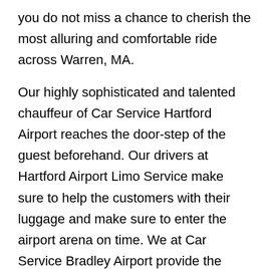you do not miss a chance to cherish the most alluring and comfortable ride across Warren, MA.
Our highly sophisticated and talented chauffeur of Car Service Hartford Airport reaches the door-step of the guest beforehand. Our drivers at Hartford Airport Limo Service make sure to help the customers with their luggage and make sure to enter the airport arena on time. We at Car Service Bradley Airport provide the ideal car transport solution for anywhere in Warren, MA. We also offer the tailor-made services to cater to our guest to give them best in class experience.
Whether you want to stop and enjoy the sight-seeing of the city, or want to go out for shopping down-